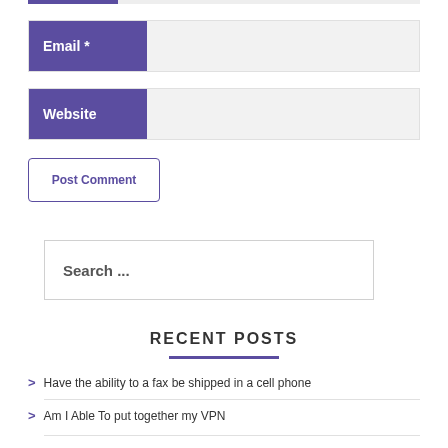Email *
Website
Post Comment
Search ...
RECENT POSTS
Have the ability to a fax be shipped in a cell phone
Am I Able To put together my VPN